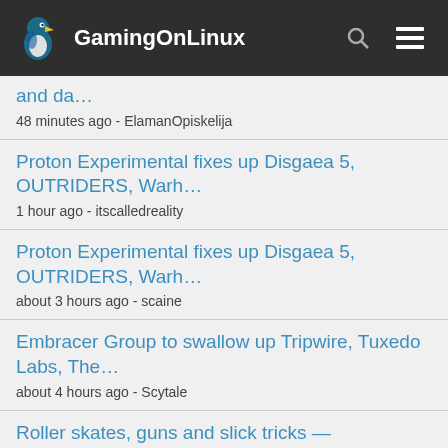GamingOnLinux
and da...
48 minutes ago - ElamanOpiskelija
Proton Experimental fixes up Disgaea 5, OUTRIDERS, Warh...
1 hour ago - itscalledreality
Proton Experimental fixes up Disgaea 5, OUTRIDERS, Warh...
about 3 hours ago - scaine
Embracer Group to swallow up Tripwire, Tuxedo Labs, The...
about 4 hours ago - Scytale
Roller skates, guns and slick tricks — Rollerdrome is...
about 5 hours ago - Geppeto35